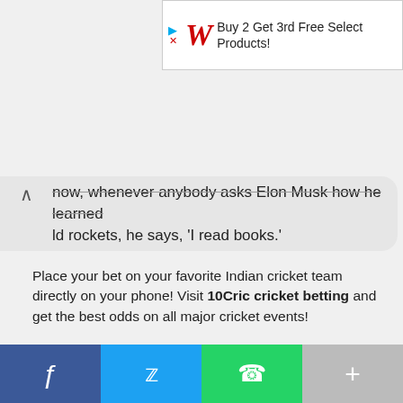[Figure (screenshot): Walgreens advertisement banner: play icon, X icon, Walgreens red cursive W logo, text 'Buy 2 Get 3rd Free Select Products!']
now, whenever anybody asks Elon Musk how he learned ld rockets, he says, 'I read books.'
Place your bet on your favorite Indian cricket team directly on your phone! Visit 10Cric cricket betting and get the best odds on all major cricket events!
LATEST NEWS
A SMARTPHONE APP IS BEING DEVELOPED TO IDENTIFY COVID-19 FROM PEOPLE'S
[Figure (screenshot): Social sharing bar with Facebook (blue), Twitter (cyan), WhatsApp (green), and More (grey) buttons]